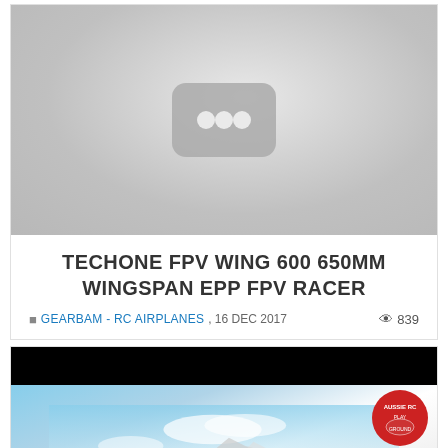[Figure (screenshot): YouTube video thumbnail placeholder showing a grey rounded rectangle icon with three white circles (YouTube loading/unavailable state)]
TECHONE FPV WING 600 650MM WINGSPAN EPP FPV RACER
GEARBAM - RC AIRPLANES, 16 DEC 2017  839 views
[Figure (photo): RC airplane photo with black header bar and Aussie RC Playground logo badge, showing plane against sky background]